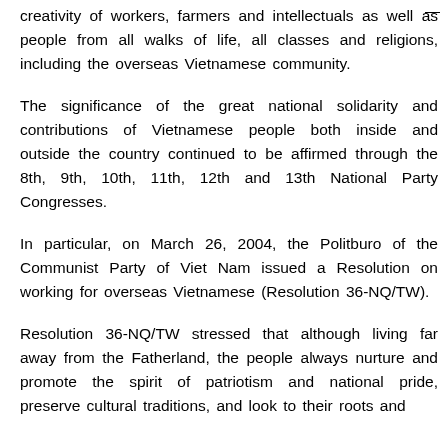creativity of workers, farmers and intellectuals as well as people from all walks of life, all classes and religions, including the overseas Vietnamese community.
The significance of the great national solidarity and contributions of Vietnamese people both inside and outside the country continued to be affirmed through the 8th, 9th, 10th, 11th, 12th and 13th National Party Congresses.
In particular, on March 26, 2004, the Politburo of the Communist Party of Viet Nam issued a Resolution on working for overseas Vietnamese (Resolution 36-NQ/TW).
Resolution 36-NQ/TW stressed that although living far away from the Fatherland, the people always nurture and promote the spirit of patriotism and national pride, preserve cultural traditions, and look to their roots and...